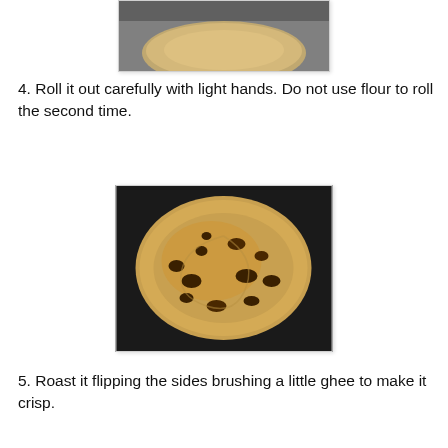[Figure (photo): Top portion of a flatbread (paratha/roti) on a dark surface, showing the rolled dough from above]
4. Roll it out carefully with light hands. Do not use flour to roll the second time.
[Figure (photo): A cooked paratha/roti flatbread with golden-brown color and dark charred spots on a black surface]
5. Roast it flipping the sides brushing a little ghee to make it crisp.